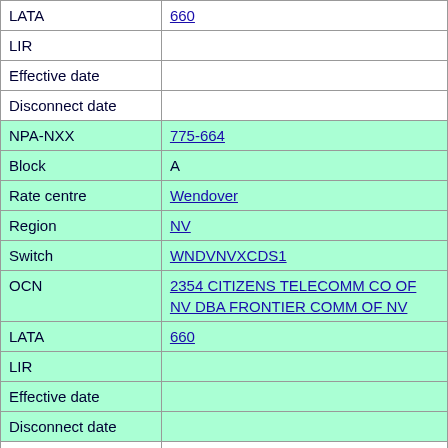| Field | Value |
| --- | --- |
| LATA | 660 |
| LIR |  |
| Effective date |  |
| Disconnect date |  |
| NPA-NXX | 775-664 |
| Block | A |
| Rate centre | Wendover |
| Region | NV |
| Switch | WNDVNVXCDS1 |
| OCN | 2354 CITIZENS TELECOMM CO OF NV DBA FRONTIER COMM OF NV |
| LATA | 660 |
| LIR |  |
| Effective date |  |
| Disconnect date |  |
| NPA-NXX | 775-665 |
| Block | A |
| Rate centre | Silver Springs |
| Region | NV |
| Switch | RENONV127MD |